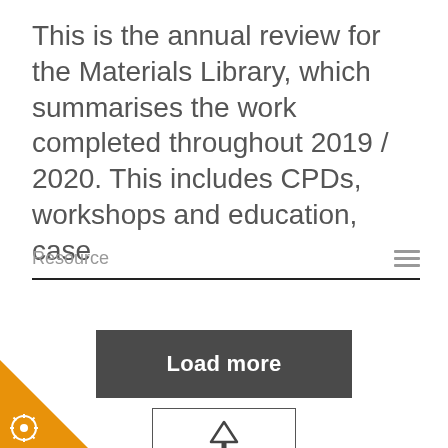This is the annual review for the Materials Library, which summarises the work completed throughout 2019 / 2020. This includes CPDs, workshops and education, case
Resource
[Figure (other): Load more button - dark grey rectangular button with white bold text 'Load more']
[Figure (other): Up arrow button - white rectangle with border containing an upward-pointing arrow icon]
[Figure (other): Orange triangle in bottom-left corner with a gear/settings icon]